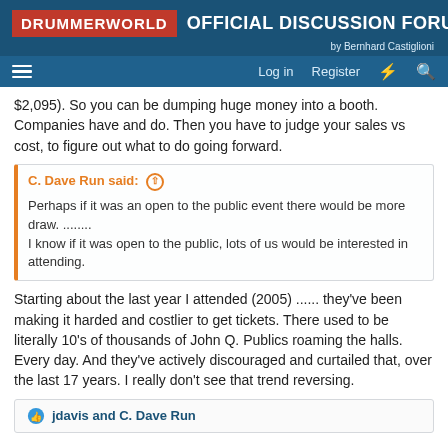DRUMMERWORLD OFFICIAL DISCUSSION FORUM by Bernhard Castiglioni
$2,095). So you can be dumping huge money into a booth. Companies have and do. Then you have to judge your sales vs cost, to figure out what to do going forward.
C. Dave Run said: ↑ Perhaps if it was an open to the public event there would be more draw. ........ I know if it was open to the public, lots of us would be interested in attending.
Starting about the last year I attended (2005) ...... they've been making it harded and costlier to get tickets. There used to be literally 10's of thousands of John Q. Publics roaming the halls. Every day. And they've actively discouraged and curtailed that, over the last 17 years. I really don't see that trend reversing.
👍 jdavis and C. Dave Run